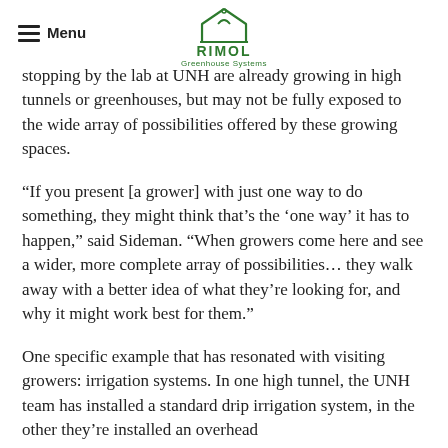Menu | RIMOL Greenhouse Systems
stopping by the lab at UNH are already growing in high tunnels or greenhouses, but may not be fully exposed to the wide array of possibilities offered by these growing spaces.
“If you present [a grower] with just one way to do something, they might think that’s the ‘one way’ it has to happen,” said Sideman. “When growers come here and see a wider, more complete array of possibilities… they walk away with a better idea of what they’re looking for, and why it might work best for them.”
One specific example that has resonated with visiting growers: irrigation systems. In one high tunnel, the UNH team has installed a standard drip irrigation system, in the other they’ve installed an overhead